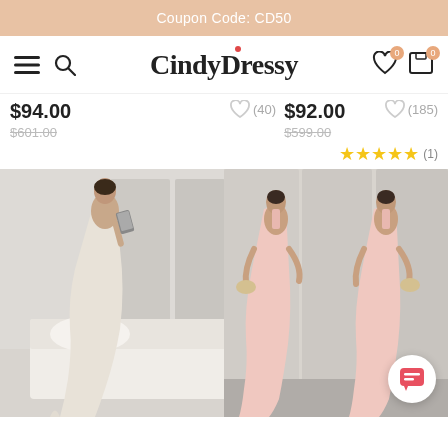Coupon Code: CD50
CindyDressy
$94.00  $601.00  (40)
$92.00  $599.00  (185)  ★★★★★ (1)
[Figure (photo): Woman in cream/champagne halter-neck mermaid gown taking mirror selfie in bedroom]
[Figure (photo): Two women in pink sleeveless mermaid gowns standing side by side in front of white wardrobes]